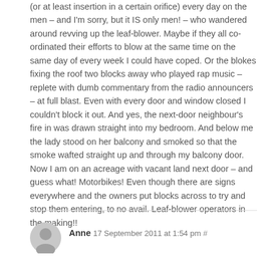(or at least insertion in a certain orifice) every day on the men – and I'm sorry, but it IS only men! – who wandered around revving up the leaf-blower. Maybe if they all co-ordinated their efforts to blow at the same time on the same day of every week I could have coped. Or the blokes fixing the roof two blocks away who played rap music – replete with dumb commentary from the radio announcers – at full blast. Even with every door and window closed I couldn't block it out. And yes, the next-door neighbour's fire in was drawn straight into my bedroom. And below me the lady stood on her balcony and smoked so that the smoke wafted straight up and through my balcony door. Now I am on an acreage with vacant land next door – and guess what! Motorbikes! Even though there are signs everywhere and the owners put blocks across to try and stop them entering, to no avail. Leaf-blower operators in the making!!
Anne 17 September 2011 at 1:54 pm #